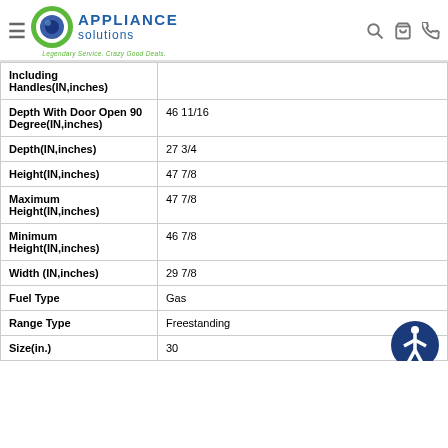Appliance Solutions — Legendary Service. Crazy Good Deals.
| Attribute | Value |
| --- | --- |
| Including Handles(IN,inches) |  |
| Depth With Door Open 90 Degree(IN,inches) | 46 11/16 |
| Depth(IN,inches) | 27 3/4 |
| Height(IN,inches) | 47 7/8 |
| Maximum Height(IN,inches) | 47 7/8 |
| Minimum Height(IN,inches) | 46 7/8 |
| Width (IN,inches) | 29 7/8 |
| Fuel Type | Gas |
| Range Type | Freestanding |
| Size(in.) | 30 |